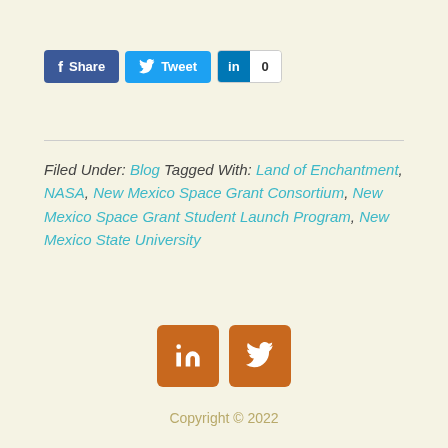[Figure (infographic): Social share buttons: Facebook Share, Twitter Tweet, LinkedIn with count 0]
Filed Under: Blog Tagged With: Land of Enchantment, NASA, New Mexico Space Grant Consortium, New Mexico Space Grant Student Launch Program, New Mexico State University
[Figure (infographic): Footer social media icon buttons: LinkedIn and Twitter, orange color]
Copyright © 2022